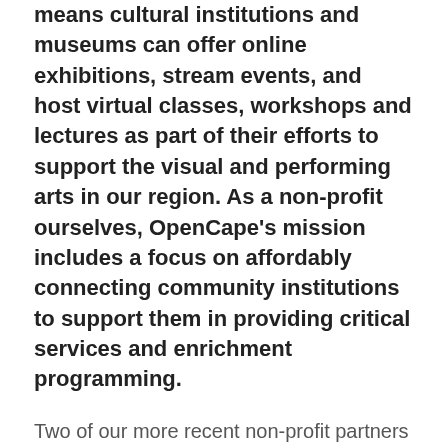means cultural institutions and museums can offer online exhibitions, stream events, and host virtual classes, workshops and lectures as part of their efforts to support the visual and performing arts in our region. As a non-profit ourselves, OpenCape's mission includes a focus on affordably connecting community institutions to support them in providing critical services and enrichment programming.
Two of our more recent non-profit partners are each leaders in the cultural community of Cape Cod: The Cotuit Center for the Arts and The Cape Cod Museum of Art.
The Cotuit Center for the Arts is an award-winning arts and culture non-profit organization that was founded in 1993. Now that Cotuit Center for the Arts is connected to our high-speed 100% fiber network,